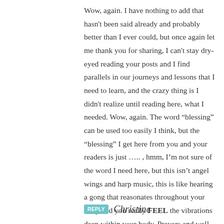Wow, again. I have nothing to add that hasn't been said already and probably better than I ever could, but once again let me thank you for sharing, I can't stay dry-eyed reading your posts and I find parallels in our journeys and lessons that I need to learn, and the crazy thing is I didn't realize until reading here, what I needed. Wow, again. The word “blessing” can be used too easily I think, but the “blessing” I get here from you and your readers is just ….. , hmm, I’m not sure of the word I need here, but this isn’t angel wings and harp music, this is like hearing a gong that reasonates throughout your body and you really FEEL the vibrations deep within your body. Prayers and well wishes for continued healing.
REPLY Christine